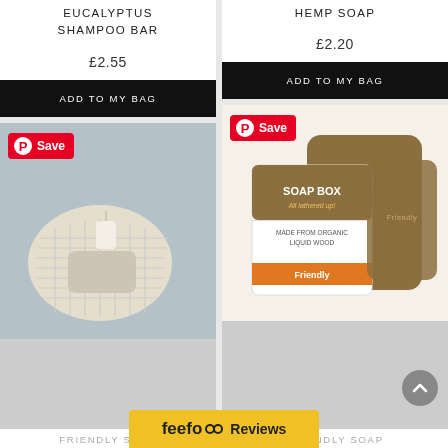EUCALYPTUS SHAMPOO BAR
£2.55
ADD TO MY BAG
[Figure (photo): A soap bar on a woven sisal mesh bag on a grey hexagonal tile background, with a Pinterest Save badge in top left]
FRIENDLY SOAP
HEMP SOAP
£2.20
ADD TO MY BAG
[Figure (photo): Friendly Soap Box packaging - brown cardboard box and soap bar with orange label, with a Pinterest Save badge in top left]
FRIENDLY SOAP
feefo Reviews